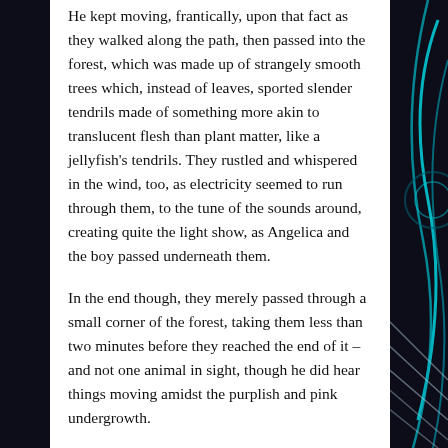He kept moving, frantically, upon that fact as they walked along the path, then passed into the forest, which was made up of strangely smooth trees which, instead of leaves, sported slender tendrils made of something more akin to translucent flesh than plant matter, like a jellyfish's tendrils. They rustled and whispered in the wind, too, as electricity seemed to run through them, to the tune of the sounds around, creating quite the light show, as Angelica and the boy passed underneath them.
In the end though, they merely passed through a small corner of the forest, taking them less than two minutes before they reached the end of it – and not one animal in sight, though he did hear things moving amidst the purplish and pink undergrowth.
“We’re almost there,” Angelica spoke up, stopping just as they stepped out of the trees.
The boy blinked and looked out – the forest floor transitioned into another field of blue lilies here, but the ground was sloped up towards his right, leading up to a